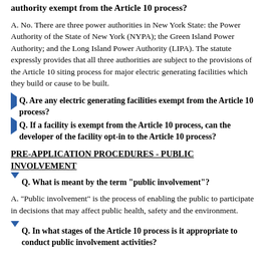authority exempt from the Article 10 process?
A. No. There are three power authorities in New York State: the Power Authority of the State of New York (NYPA); the Green Island Power Authority; and the Long Island Power Authority (LIPA). The statute expressly provides that all three authorities are subject to the provisions of the Article 10 siting process for major electric generating facilities which they build or cause to be built.
Q. Are any electric generating facilities exempt from the Article 10 process?
Q. If a facility is exempt from the Article 10 process, can the developer of the facility opt-in to the Article 10 process?
PRE-APPLICATION PROCEDURES - PUBLIC INVOLVEMENT
Q. What is meant by the term "public involvement"?
A. "Public involvement" is the process of enabling the public to participate in decisions that may affect public health, safety and the environment.
Q. In what stages of the Article 10 process is it appropriate to conduct public involvement activities?